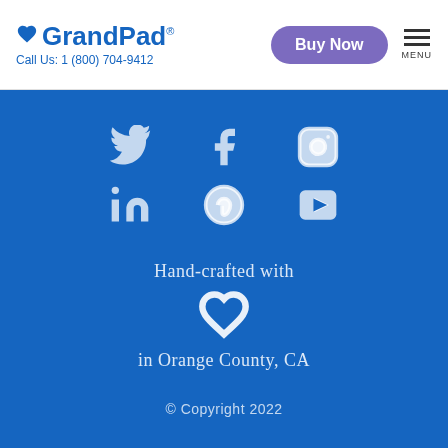GrandPad® — Call Us: 1 (800) 704-9412 — Buy Now — MENU
[Figure (illustration): Social media icons row 1: Twitter, Facebook, Instagram on blue background]
[Figure (illustration): Social media icons row 2: LinkedIn, Pinterest, YouTube on blue background]
Hand-crafted with ♥ in Orange County, CA
© Copyright 2022